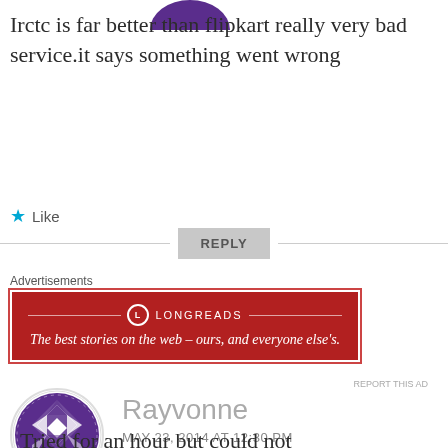Irctc is far better than flipkart really very bad service.it says something went wrong
★ Like
REPLY
Advertisements
[Figure (other): Longreads advertisement banner: red background, logo and tagline 'The best stories on the web – ours, and everyone else's.']
REPORT THIS AD
Rayvonne
MAY 23, 2014 AT 12:30 PM
Tried for an hour but could not